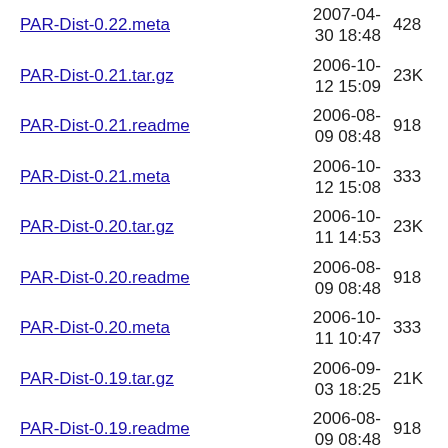PAR-Dist-0.22.meta  2007-04-30 18:48  428
PAR-Dist-0.21.tar.gz  2006-10-12 15:09  23K
PAR-Dist-0.21.readme  2006-08-09 08:48  918
PAR-Dist-0.21.meta  2006-10-12 15:08  333
PAR-Dist-0.20.tar.gz  2006-10-11 14:53  23K
PAR-Dist-0.20.readme  2006-08-09 08:48  918
PAR-Dist-0.20.meta  2006-10-11 10:47  333
PAR-Dist-0.19.tar.gz  2006-09-03 18:25  21K
PAR-Dist-0.19.readme  2006-08-09 08:48  918
PAR-Dist-0.19.meta  2006-09-03 18:23  333
PAR-Dist-0.18.tar.gz  2006-08-27 17:07  20K